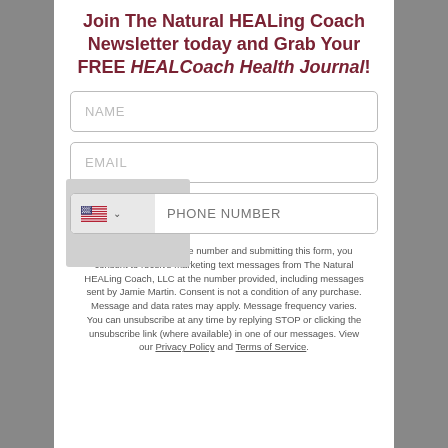Join The Natural HEALing Coach Newsletter today and Grab Your FREE HEALCoach Health Journal!
[Figure (screenshot): Web form with NAME text input field]
[Figure (screenshot): Web form with EMAIL text input field]
[Figure (screenshot): Web form with US flag country selector and PHONE NUMBER text input field]
By entering your phone number and submitting this form, you consent to receive marketing text messages from The Natural HEALing Coach, LLC at the number provided, including messages sent by Jamie Martin. Consent is not a condition of any purchase. Message and data rates may apply. Message frequency varies. You can unsubscribe at any time by replying STOP or clicking the unsubscribe link (where available) in one of our messages. View our Privacy Policy and Terms of Service.